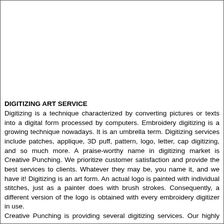[Figure (other): Large blank white image area occupying the top portion of the page]
DIGITIZING ART SERVICE
Digitizing is a technique characterized by converting pictures or texts into a digital form processed by computers. Embroidery digitizing is a growing technique nowadays. It is an umbrella term. Digitizing services include patches, applique, 3D puff, pattern, logo, letter, cap digitizing, and so much more. A praise-worthy name in digitizing market is Creative Punching. We prioritize customer satisfaction and provide the best services to clients. Whatever they may be, you name it, and we have it! Digitizing is an art form. An actual logo is painted with individual stitches, just as a painter does with brush strokes. Consequently, a different version of the logo is obtained with every embroidery digitizer in use.
Creative Punching is providing several digitizing services. Our highly skilled team is well-aware of each customer's requirement and the appropriate way of implementing techniques. Precision, accuracy, consistency, and customer satisfaction are our priorities.